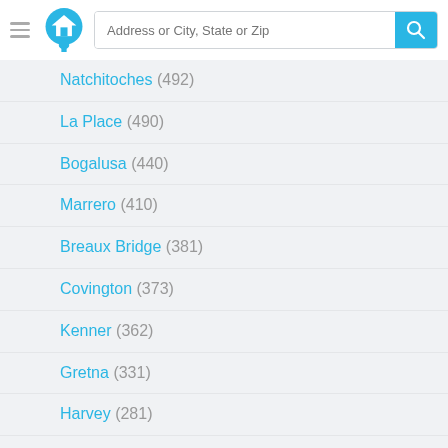Address or City, State or Zip
Natchitoches (492)
La Place (490)
Bogalusa (440)
Marrero (410)
Breaux Bridge (381)
Covington (373)
Kenner (362)
Gretna (331)
Harvey (281)
Pineville (279)
Saint Martinville (272)
Eunice (260)